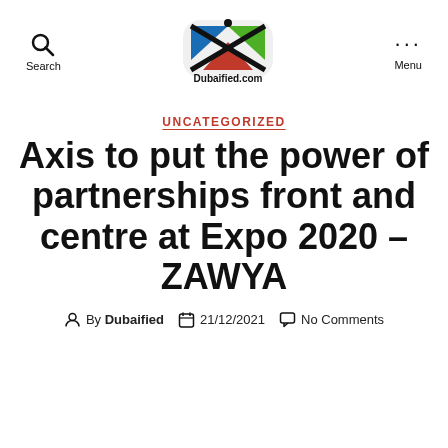Search | Dubaified.com | Menu
UNCATEGORIZED
Axis to put the power of partnerships front and centre at Expo 2020 – ZAWYA
By Dubaified   21/12/2021   No Comments